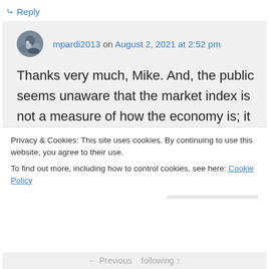↳ Reply
mpardi2013 on August 2, 2021 at 2:52 pm
Thanks very much, Mike. And, the public seems unaware that the market index is not a measure of how the economy is; it is a measure of how the economy is expected to do. In simple terms, it's the projection of a fantasy – which can evaporate at a moment's notice.
Privacy & Cookies: This site uses cookies. By continuing to use this website, you agree to their use.
To find out more, including how to control cookies, see here: Cookie Policy
Close and accept